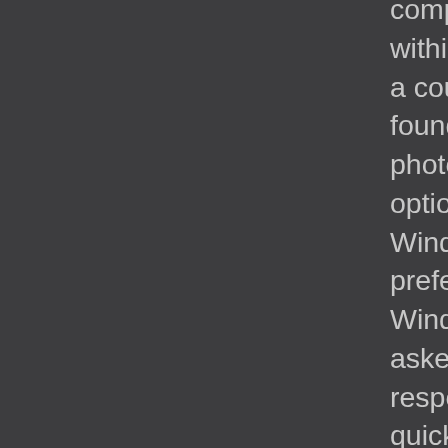complete the work within 12 hours.After a couple of days I found that the photographic print options on my Windows 7 was preferable to Windows 10, and asked for advice.He responded very quickly and helped me change it on line , with noextra charges. Khalifa was efficient, knowledgeable and very friendly throughout the whole process, and the price charged